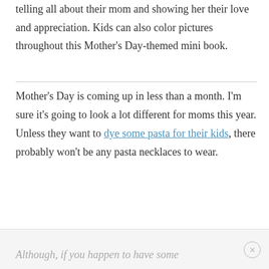telling all about their mom and showing her their love and appreciation. Kids can also color pictures throughout this Mother's Day-themed mini book.
Mother's Day is coming up in less than a month. I'm sure it's going to look a lot different for moms this year. Unless they want to dye some pasta for their kids, there probably won't be any pasta necklaces to wear.
Although, if you happen to have some